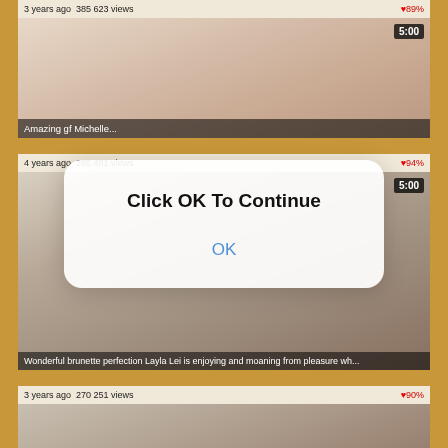3 years ago  385 623 views   ❤ 89%
[Figure (photo): Video thumbnail showing adult content, duration badge 5:00, title 'Amazing gf Michelle...']
4 years ago  285 481 views   ❤ 94%
[Figure (photo): Video thumbnail showing adult content, duration badge 5:00, title 'Wonderful brunette perfection Layla Lei is enjoying and moaning from pleasure wh...']
3 years ago  270 251 views   ❤ 90%
[Figure (screenshot): Modal dialog overlay with text 'Click OK To Continue' and blue 'OK' button]